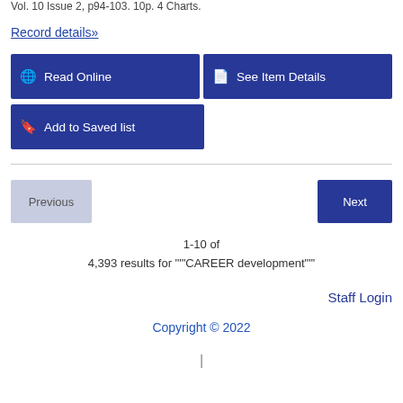Vol. 10 Issue 2, p94-103. 10p. 4 Charts.
Record details»
Read Online
See Item Details
Add to Saved list
Previous
Next
1-10 of
4,393 results for '"CAREER development"'
Staff Login
Copyright © 2022